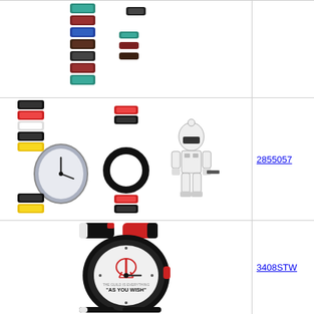[Figure (photo): LEGO Star Wars watch with colorful interchangeable band links (blue, dark red/brown, red, black) and extra link pieces shown separately, partially cropped at top]
[Figure (photo): LEGO Star Wars Stormtrooper watch with black/white/red/yellow interchangeable band links laid out with watch face, extra link pieces, a black bezel ring, and a Stormtrooper minifigure]
2855057
[Figure (photo): LEGO Star Wars Boba Fett adult watch with black and white silicone band, red accents, dark round case with Boba Fett/Mandalorian logo and 'AS YOU WISH' text on dial]
3408STW